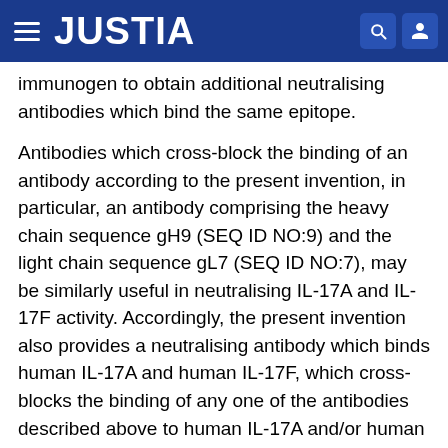JUSTIA
immunogen to obtain additional neutralising antibodies which bind the same epitope.
Antibodies which cross-block the binding of an antibody according to the present invention, in particular, an antibody comprising the heavy chain sequence gH9 (SEQ ID NO:9) and the light chain sequence gL7 (SEQ ID NO:7), may be similarly useful in neutralising IL-17A and IL-17F activity. Accordingly, the present invention also provides a neutralising antibody which binds human IL-17A and human IL-17F, which cross-blocks the binding of any one of the antibodies described above to human IL-17A and/or human IL-17F and/or human IL-17A/F heterodimer and/or is cross-blocked from binding IL-17A and/or IL-17F and/or human IL-17A/F heterodimer by any one of those antibodies. In one embodiment, such an antibody binds to the same epitope as an antibody described herein above. In another embodiment the